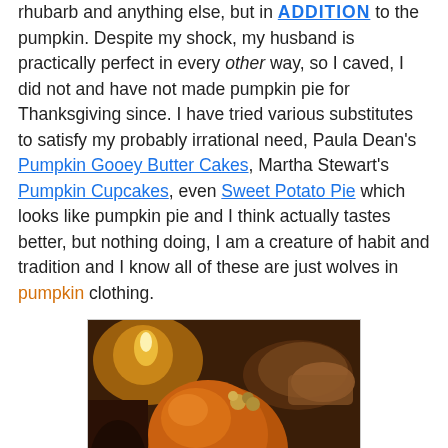rhubarb and anything else, but in ADDITION to the pumpkin. Despite my shock, my husband is practically perfect in every other way, so I caved, I did not and have not made pumpkin pie for Thanksgiving since. I have tried various substitutes to satisfy my probably irrational need, Paula Dean's Pumpkin Gooey Butter Cakes, Martha Stewart's Pumpkin Cupcakes, even Sweet Potato Pie which looks like pumpkin pie and I think actually tastes better, but nothing doing, I am a creature of habit and tradition and I know all of these are just wolves in pumpkin clothing.
[Figure (photo): A roasted Thanksgiving turkey on a platter surrounded by fruits and vegetables including broccoli, red berries, grapes, and oranges, with candles and side dishes visible in the background.]